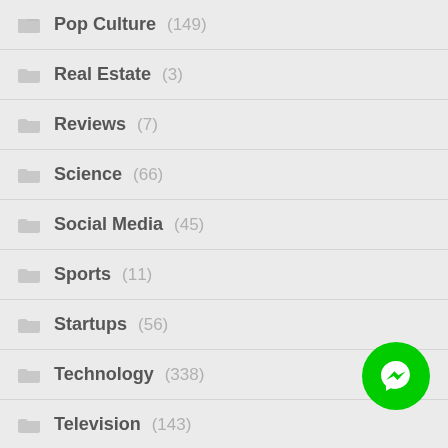Pop Culture (149)
Real Estate (3)
Reviews (7)
Science (66)
Social Media (45)
Sports (11)
Startups (56)
Technology (338)
Television (143)
The Web (198)
[Figure (logo): Green circular Facebook Messenger button with lightning bolt icon]